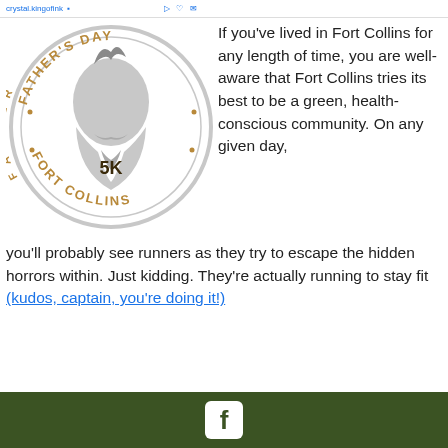crystal.kingofink ...
[Figure (logo): Father's Day 5K Fort Collins circular logo with a bearded man silhouette in gray, text around the circle in brown/tan lettering]
If you've lived in Fort Collins for any length of time, you are well-aware that Fort Collins tries its best to be a green, health-conscious community. On any given day, you'll probably see runners as they try to escape the hidden horrors within. Just kidding. They're actually running to stay fit (kudos, captain, you're doing it!).
Facebook icon